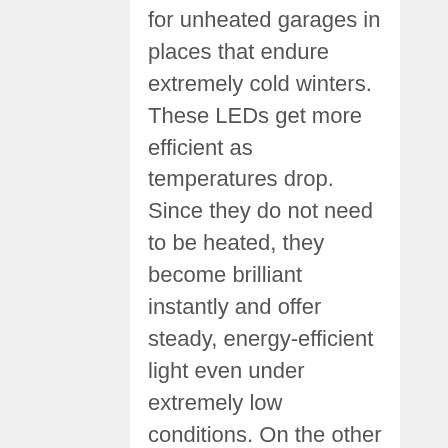for unheated garages in places that endure extremely cold winters. These LEDs get more efficient as temperatures drop. Since they do not need to be heated, they become brilliant instantly and offer steady, energy-efficient light even under extremely low conditions. On the other hand, some fluorescent lights cannot work if the air temperature falls below 50 degrees Fahrenheit. Therefore, those living in places where temperatures often fall below freezing will benefit from an LED